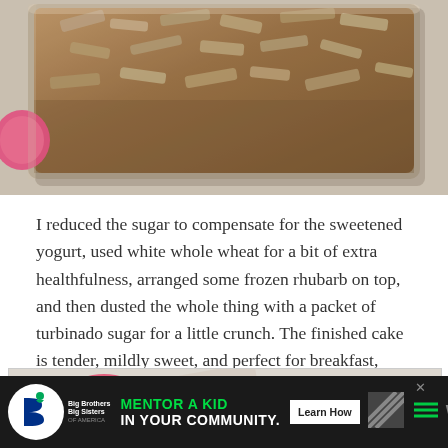[Figure (photo): Overhead photo of a baked rhubarb cake in a glass baking dish on a light marble surface, with a pink lid visible at bottom left corner.]
I reduced the sugar to compensate for the sweetened yogurt, used white whole wheat for a bit of extra healthfulness, arranged some frozen rhubarb on top, and then dusted the whole thing with a packet of turbinado sugar for a little crunch. The finished cake is tender, mildly sweet, and perfect for breakfast, afternoon snacking, or a late night nibble.
[Figure (photo): Photo showing a pink circular lid and what appears to be a bag or package on a light background, partially visible at the bottom of the page.]
[Figure (other): Advertisement banner: Big Brothers Big Sisters logo on left, green and white text reading MENTOR A KID IN YOUR COMMUNITY, Learn How button, decorative stripes, hamburger menu icon, and W degree symbol on right. Close X button at top right.]